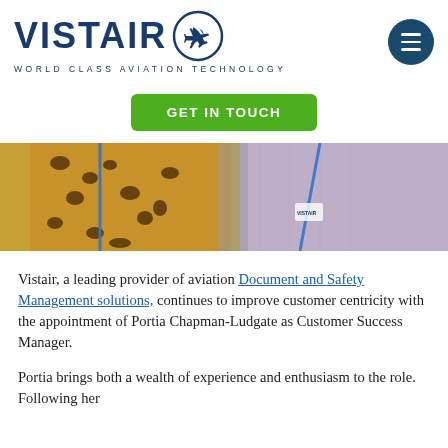[Figure (logo): Vistair logo with airplane in circle and tagline 'WORLD CLASS AVIATION TECHNOLOGY']
[Figure (other): Hamburger menu button (dark blue circle with three white horizontal lines)]
[Figure (other): Green 'GET IN TOUCH' button]
[Figure (photo): Photo of two people wearing lanyards with Vistair badges — one in leopard print top, one in pink shirt]
Vistair, a leading provider of aviation Document and Safety Management solutions, continues to improve customer centricity with the appointment of Portia Chapman-Ludgate as Customer Success Manager.
Portia brings both a wealth of experience and enthusiasm to the role. Following her